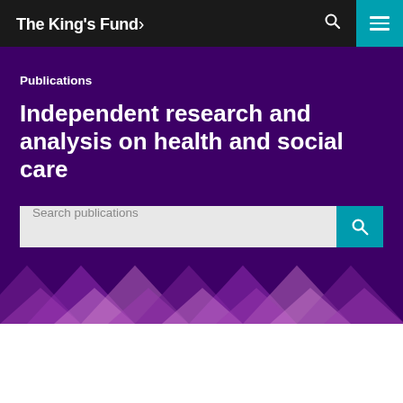The King's Fund
Publications
Independent research and analysis on health and social care
Search publications
Viewing: Report
We use cookies to provide social media features and to analyse our traffic. We also share information about your use of our website with our social media and analytics partners.
Topics